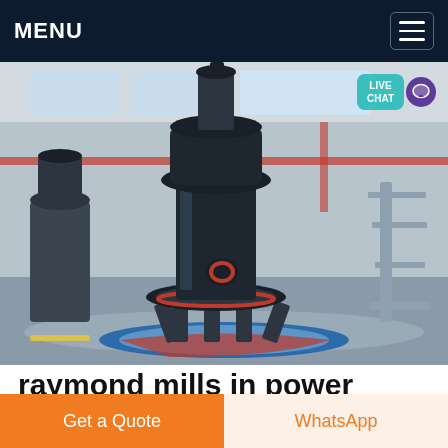MENU
[Figure (photo): Industrial Raymond roller mill machine inside a large factory/warehouse building. The machine is dark gray/black, cylindrical with a wide base and red accent ring, sitting on a colorful circular floor marking (blue, red, yellow). Steel structure and windows visible in background.]
raymond mills in power plant
raymond roller mills - ARVOS Group Raymond Roller Mills